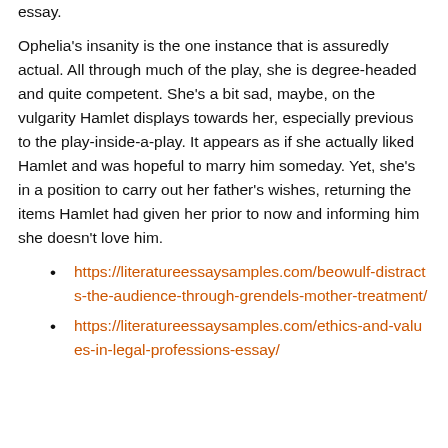essay.
Ophelia's insanity is the one instance that is assuredly actual. All through much of the play, she is degree-headed and quite competent. She's a bit sad, maybe, on the vulgarity Hamlet displays towards her, especially previous to the play-inside-a-play. It appears as if she actually liked Hamlet and was hopeful to marry him someday. Yet, she's in a position to carry out her father's wishes, returning the items Hamlet had given her prior to now and informing him she doesn't love him.
https://literatureessaysamples.com/beowulf-distracts-the-audience-through-grendels-mother-treatment/
https://literatureessaysamples.com/ethics-and-values-in-legal-professions-essay/